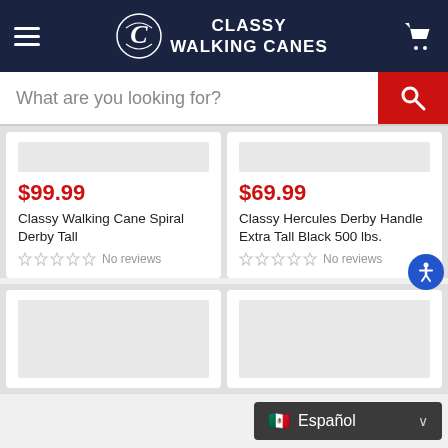CLASSY WALKING CANES
What are you looking for?
$99.99
Classy Walking Cane Spiral Derby Tall
No reviews
$69.99
Classy Hercules Derby Handle Extra Tall Black 500 lbs.
No reviews